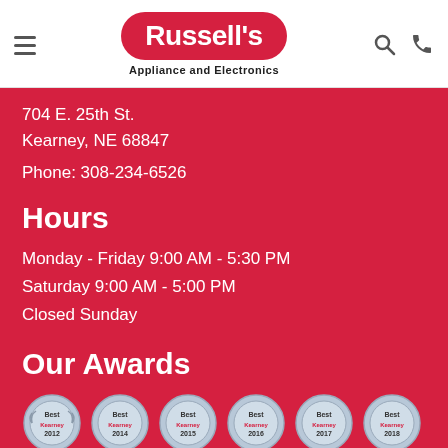[Figure (logo): Russell's Appliance and Electronics logo — white text on red pill-shaped background with tagline]
704 E. 25th St.
Kearney, NE 68847
Phone: 308-234-6526
Hours
Monday - Friday 9:00 AM - 5:30 PM
Saturday 9:00 AM - 5:00 PM
Closed Sunday
Our Awards
[Figure (illustration): Six Best of Kearney award badges for years 2012, 2014, 2015, 2016, 2017, 2018]